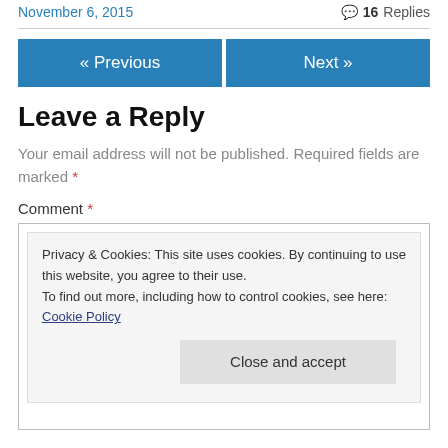November 6, 2015    💬 16 Replies
« Previous    Next »
Leave a Reply
Your email address will not be published. Required fields are marked *
Comment *
Privacy & Cookies: This site uses cookies. By continuing to use this website, you agree to their use.
To find out more, including how to control cookies, see here: Cookie Policy
Close and accept